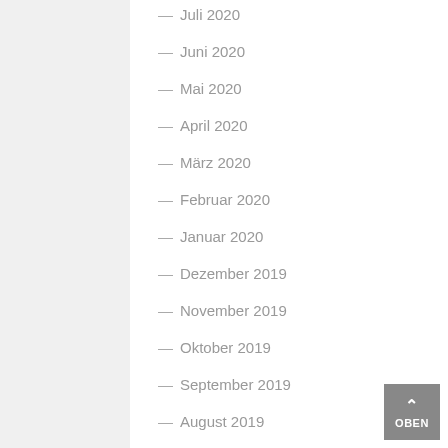— Juli 2020
— Juni 2020
— Mai 2020
— April 2020
— März 2020
— Februar 2020
— Januar 2020
— Dezember 2019
— November 2019
— Oktober 2019
— September 2019
— August 2019
— Juli 2019
— Juni 2019